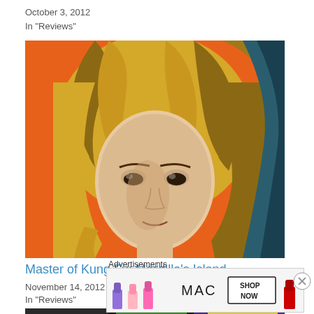October 3, 2012
In "Reviews"
[Figure (illustration): Comic book style illustration of a blonde woman with wavy hair on an orange background with teal/black elements on the right side]
Master of Kung Fu: Mordillo's Island
November 14, 2012
In "Reviews"
[Figure (illustration): Partial comic book image showing text 'THE ISSUE' and 'TO END--' with colorful comic characters]
Advertisements
[Figure (photo): MAC cosmetics advertisement showing lipsticks in purple, pink shades and red, with MAC logo and SHOP NOW button]